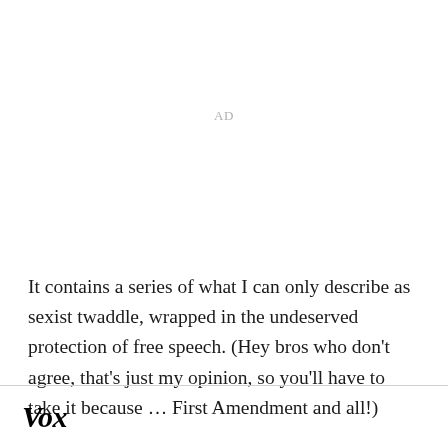AD
It contains a series of what I can only describe as sexist twaddle, wrapped in the undeserved protection of free speech. (Hey bros who don't agree, that's just my opinion, so you'll have to take it because … First Amendment and all!)
Vox